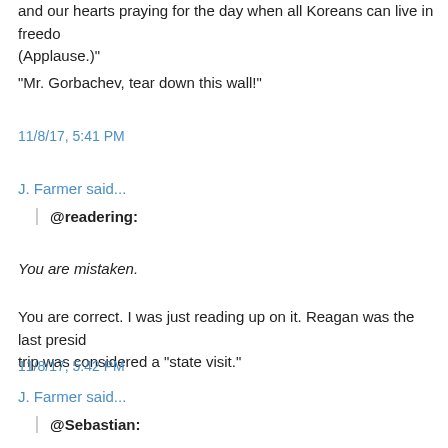and our hearts praying for the day when all Koreans can live in freedom. (Applause.)"
"Mr. Gorbachev, tear down this wall!"
11/8/17, 5:41 PM
J. Farmer said...
@readering:
You are mistaken.
You are correct. I was just reading up on it. Reagan was the last presid... trip was considered a "state visit."
11/8/17, 5:42 PM
J. Farmer said...
@Sebastian: